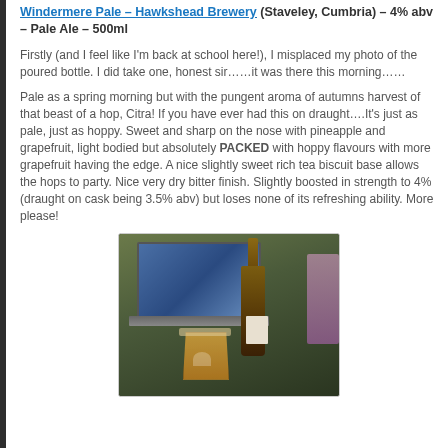Windermere Pale – Hawkshead Brewery (Staveley, Cumbria) – 4% abv – Pale Ale – 500ml
Firstly (and I feel like I'm back at school here!), I misplaced my photo of the poured bottle. I did take one, honest sir……it was there this morning……
Pale as a spring morning but with the pungent aroma of autumns harvest of that beast of a hop, Citra! If you have ever had this on draught….It's just as pale, just as hoppy. Sweet and sharp on the nose with pineapple and grapefruit, light bodied but absolutely PACKED with hoppy flavours with more grapefruit having the edge. A nice slightly sweet rich tea biscuit base allows the hops to party. Nice very dry bitter finish. Slightly boosted in strength to 4% (draught on cask being 3.5% abv) but loses none of its refreshing ability. More please!
[Figure (photo): Photo of a brown beer bottle with label next to a glass of amber beer, with a laptop in the background]